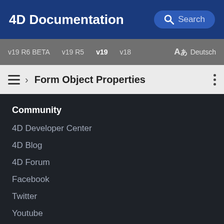4D Documentation
v19 R6 BETA  v19 R5  v19  v18  Aあ Deutsch
› Form Object Properties
Community
4D Developer Center
4D Blog
4D Forum
Facebook
Twitter
Youtube
GitHub
Support